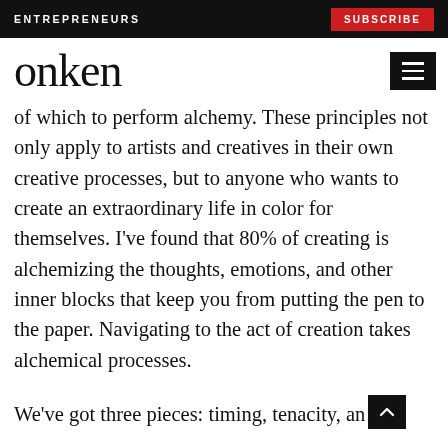ENTREPRENEURS | SUBSCRIBE
onken
of which to perform alchemy. These principles not only apply to artists and creatives in their own creative processes, but to anyone who wants to create an extraordinary life in color for themselves. I've found that 80% of creating is alchemizing the thoughts, emotions, and other inner blocks that keep you from putting the pen to the paper. Navigating to the act of creation takes alchemical processes.
We've got three pieces: timing, tenacity, an